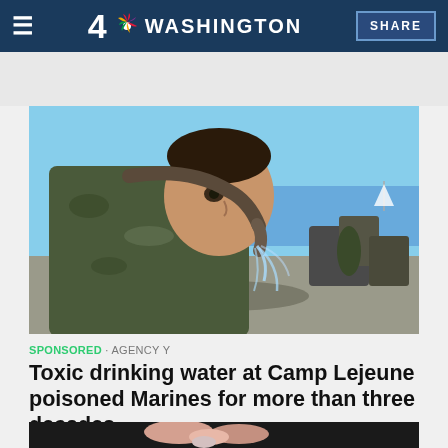4 NBC WASHINGTON  SHARE
[Figure (photo): A Marine in camouflage uniform drinking water from a hose outdoors near a waterfront with military equipment in background]
SPONSORED · AGENCY Y
Toxic drinking water at Camp Lejeune poisoned Marines for more than three decades.
[Figure (photo): Close-up of pills or tablets held in fingertips]